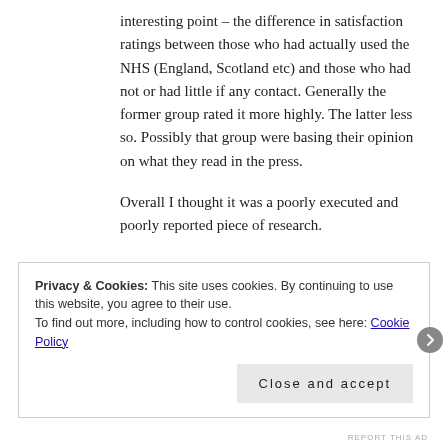interesting point – the difference in satisfaction ratings between those who had actually used the NHS (England, Scotland etc) and those who had not or had little if any contact. Generally the former group rated it more highly. The latter less so. Possibly that group were basing their opinion on what they read in the press.
Overall I thought it was a poorly executed and poorly reported piece of research.
Privacy & Cookies: This site uses cookies. By continuing to use this website, you agree to their use.
To find out more, including how to control cookies, see here: Cookie Policy